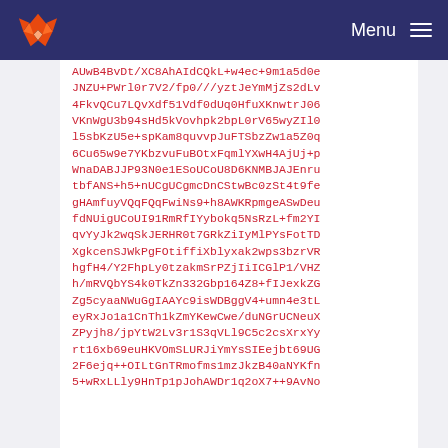Menu
AUwB4BvDt/XC8AhAIdCQkL+w4ec+9m1a5d0e
JNZU+PWrl0r7V2/fp0///yztJeYmMjZs2dLv
4FkvQCu7LQvXdf51Vdf0dUq0HfuXKnwtrJ06
VKnWgU3b94sHd5kVovhpk2bpL0rV65wyZIl0
l5sbKzU5e+spKam8quvvpJuFTSbzZw1a5Z0q
6Cu65w9e7YKbzvuFuBOtxFqmlYXwH4AjUj+p
WnaDABJJP93N0e1ESoUCoU8D6KNMBJAJEnru
tbfANS+h5+nUCgUCgmcDnCStwBc0zSt4t9fe
gHAmfuyVQqFQqFwiNs9+h8AWKRpmgeASwDeu
fdNUigUCoUI91RmRfIYybokq5NsRzL+fm2YI
qvYyJk2wqSkJERHR0t7GRkZiIyMlPYsFotTD
XgkcenSJWkPgFOtiffiXblyxak2wps3bzrVR
hgfH4/Y2FhpLy0tzakmSrPZjIiICGlP1/VHZ
h/mRVQbYS4k0TkZn332Gbp164Z8+fIJexkZG
Zg5cyaaNWuGgIAAYc9isWDBggV4+umn4e3tL
eyRxJo1a1CnTh1kZmYKewCwe/duNGrUCNeuX
ZPyjh8/jpYtW2Lv3r1S3qVLl9C5c2csXrxYy
rt16xb69euHKVOmSLURJiYmYsSIEejbt69UG
2F6ejq++OILtGnTRmofms1mzJkzB40aNYKfn
5+wRxLLly9HnTp1pJohAWDr1q2oX7++9AvNo